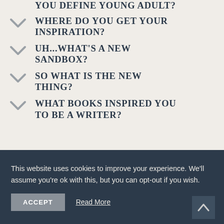YOU DEFINE YOUNG ADULT?
WHERE DO YOU GET YOUR INSPIRATION?
UH...WHAT'S A NEW SANDBOX?
SO WHAT IS THE NEW THING?
WHAT BOOKS INSPIRED YOU TO BE A WRITER?
This website uses cookies to improve your experience. We'll assume you're ok with this, but you can opt-out if you wish.
ACCEPT
Read More